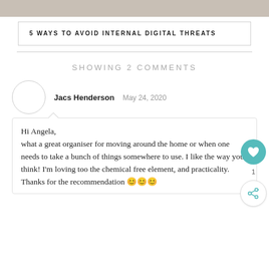[Figure (other): Gray banner image at top of page]
5 WAYS TO AVOID INTERNAL DIGITAL THREATS
SHOWING 2 COMMENTS
Jacs Henderson   May 24, 2020
Hi Angela,
what a great organiser for moving around the home or when one needs to take a bunch of things somewhere to use. I like the way you think! I'm loving too the chemical free element, and practicality.
Thanks for the recommendation 😊😊😊